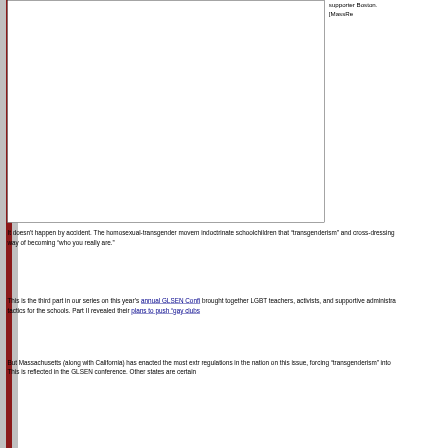[Figure (other): A mostly blank white rectangle with a black border, representing an image placeholder or a photograph area.]
supporter Boston. [MassRe
It doesn't happen by accident. The homosexual-transgender movem indoctrinate schoolchildren that "transgenderism" and cross-dressing way of becoming "who you really are."
This is the third part in our series on this year's annual GLSEN Confi brought together LGBT teachers, activists, and supportive administra tactics for the schools. Part II revealed their plans to push "gay clubs
But Massachusetts (along with California) has enacted the most extr regulations in the nation on this issue, forcing "transgenderism" into This is reflected in the GLSEN conference. Other states are certain